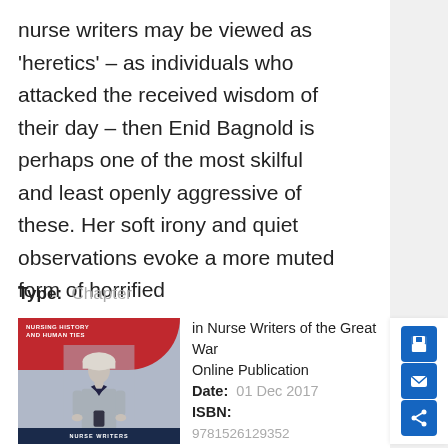nurse writers may be viewed as 'heretics' – as individuals who attacked the received wisdom of their day – then Enid Bagnold is perhaps one of the most skilful and least openly aggressive of these. Her soft irony and quiet observations evoke a more muted form of horrified
Type:  Chapter
[Figure (photo): Book cover of 'Nurse Writers of the Great War' — showing a historical photograph of a nurse in uniform, with a red curved banner at the top reading 'Nursing History and Humanities', and a dark navy bar at the bottom with the text 'NURSE WRITERS']
in Nurse Writers of the Great War Online Publication Date:  01 Dec 2017 ISBN:  9781526129352 Subjects:  History